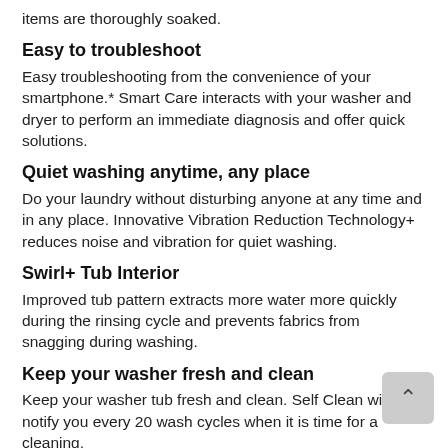items are thoroughly soaked.
Easy to troubleshoot
Easy troubleshooting from the convenience of your smartphone.* Smart Care interacts with your washer and dryer to perform an immediate diagnosis and offer quick solutions.
Quiet washing anytime, any place
Do your laundry without disturbing anyone at any time and in any place. Innovative Vibration Reduction Technology+ reduces noise and vibration for quiet washing.
Swirl+ Tub Interior
Improved tub pattern extracts more water more quickly during the rinsing cycle and prevents fabrics from snagging during washing.
Keep your washer fresh and clean
Keep your washer tub fresh and clean. Self Clean will notify you every 20 wash cycles when it is time for a cleaning.
Soft Close lid